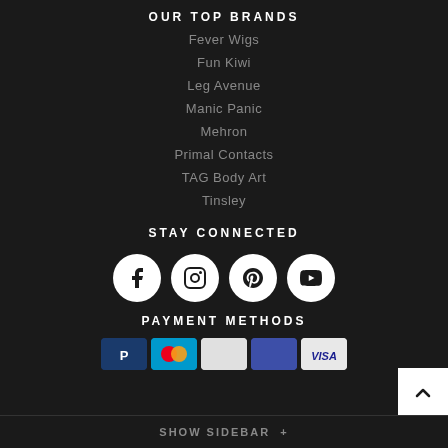OUR TOP BRANDS
Fever Wigs
Fun Kiwi
Leg Avenue
Manic Panic
Mehron
Primal Contacts
TAG Body Art
Tinsley
STAY CONNECTED
[Figure (infographic): Social media icons: Facebook, Instagram, Pinterest, YouTube]
PAYMENT METHODS
[Figure (infographic): Payment method icons: PayPal, Mastercard, and others including Visa]
SHOW SIDEBAR +